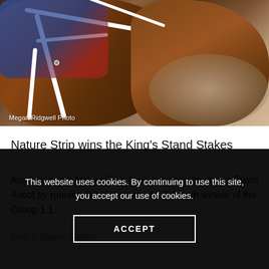[Figure (photo): Close-up photo of a racehorse with white bridle straps and a jockey in blue/red silks. The horse occupies most of the frame. Photo credit: Megan Ridgwell Photo]
Megan Ridgwell Photo
Nature Strip wins the King's Stand Stakes
Australian star Nature Strip lit up the opening day of Royal Ascot by running out a stunning 4 1/2-length winner of the Group 1 1 King's Stand Stakes
This website uses cookies. By continuing to use this site, you accept our use of cookies.